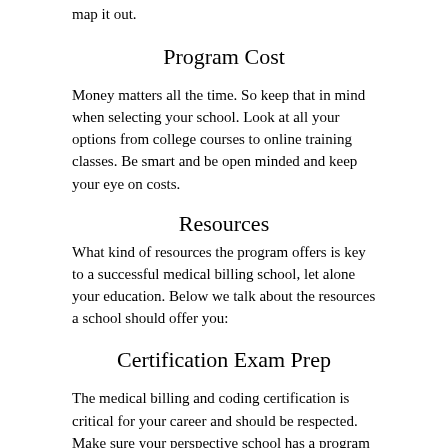map it out.
Program Cost
Money matters all the time. So keep that in mind when selecting your school. Look at all your options from college courses to online training classes. Be smart and be open minded and keep your eye on costs.
Resources
What kind of resources the program offers is key to a successful medical billing school, let alone your education. Below we talk about the resources a school should offer you:
Certification Exam Prep
The medical billing and coding certification is critical for your career and should be respected. Make sure your perspective school has a program to prepare you for it. Don't just rely on the school but it can be a real tool for success if they do!